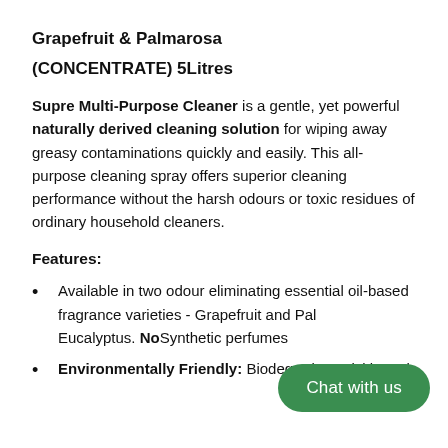Grapefruit & Palmarosa
(CONCENTRATE) 5Litres
Supre Multi-Purpose Cleaner is a gentle, yet powerful naturally derived cleaning solution for wiping away greasy contaminations quickly and easily. This all-purpose cleaning spray offers superior cleaning performance without the harsh odours or toxic residues of ordinary household cleaners.
Features:
Available in two odour eliminating essential oil-based fragrance varieties - Grapefruit and Palmarosa or Eucalyptus. No Synthetic perfumes…
Environmentally Friendly: Biodegrades quickly and…